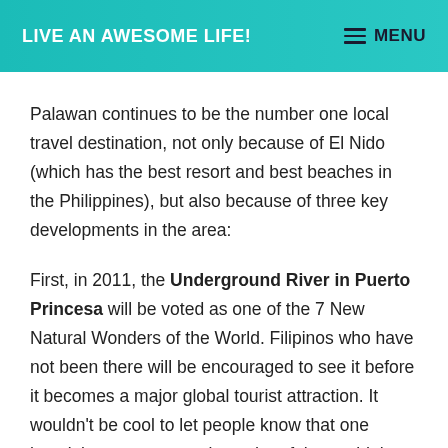LIVE AN AWESOME LIFE!  MENU
Palawan continues to be the number one local travel destination, not only because of El Nido (which has the best resort and best beaches in the Philippines), but also because of three key developments in the area:
First, in 2011, the Underground River in Puerto Princesa will be voted as one of the 7 New Natural Wonders of the World. Filipinos who have not been there will be encouraged to see it before it becomes a major global tourist attraction. It wouldn't be cool to let people know that one hasn't been to a natural wonder of the world that is in one's own country.